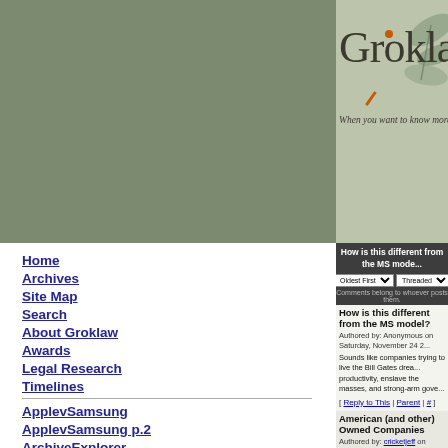[Figure (logo): Groklaw website logo with magnifier icon and tagline 'When you want to know more...' on olive/sage green background]
How is this different from the MS model?
Oldest First | Threaded
Comments belong to whoever posts them.
How is this different from the MS model?
Authored by: Anonymous on Saturday, November 24 2...
Sounds like companies trying to live the Bill Gates drea... productivity, enslave the masses, and strong-arm gove...
[ Reply to This | Parent | # ]
American (and other) Owned Companies
Authored by: cricketjeff on Sunday, November 25 201...
Who provide tens of thousands of jobs in China (such a... Korean companies who provide thousands of US jobs,...
Large companies are very rarely national, they follow th... Middle Eastern and Chinese countries run huge trade s... traditional West, these earnings are held in dollars and... use if you buy things with them, the only things you can... dollars are Western companies, this is how Internatio...
Home
Archives
Site Map
Search
About Groklaw
Awards
Legal Research
Timelines
ApplevSamsung
ApplevSamsung p.2
ArchiveExplorer
Autozone
Bilski
Cases
Cast: Lawyers
Comes v. MS
Contracts/Documents
Courts
DRM
Gordon v MS
GPL
Grokdoc
HTML How To